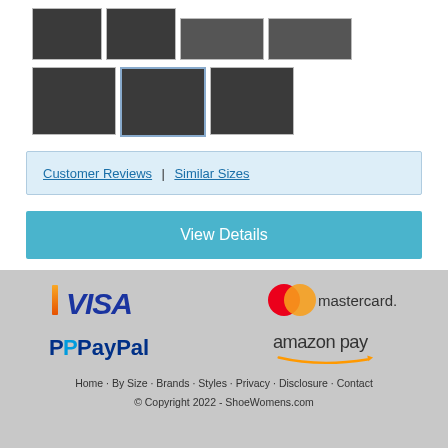[Figure (photo): Grid of black patent leather dress shoe thumbnail images, top row 4 thumbnails]
[Figure (photo): Grid of black patent leather dress shoe thumbnail images, bottom row 3 thumbnails]
Customer Reviews | Similar Sizes
View Details
[Figure (logo): VISA payment logo]
[Figure (logo): Mastercard payment logo]
[Figure (logo): PayPal payment logo]
[Figure (logo): Amazon Pay payment logo]
Home · By Size · Brands · Styles · Privacy · Disclosure · Contact © Copyright 2022 - ShoeWomens.com